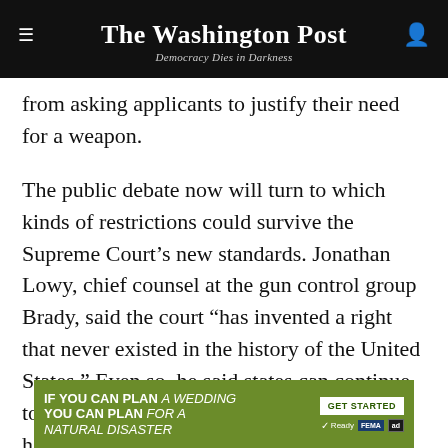The Washington Post
Democracy Dies in Darkness
from asking applicants to justify their need for a weapon.
The public debate now will turn to which kinds of restrictions could survive the Supreme Court's new standards. Jonathan Lowy, chief counsel at the gun control group Brady, said the court “has invented a right that never existed in the history of the United States.” Even so, he said states can continue to prevent dangerous people from carrying handguns in public by expanding training requirements and strengthening standards for revoking licenses when necessary.
[Figure (infographic): Green advertisement banner: IF YOU CAN PLAN A WEDDING YOU CAN PLAN FOR A NATURAL DISASTER - GET STARTED button - Ready, FEMA, ad logos]